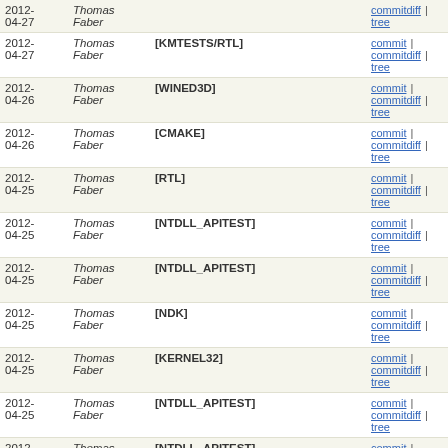| Date | Author | Subject | Links |
| --- | --- | --- | --- |
| 2012-04-27 | Thomas Faber |  | commitdiff | tree |
| 2012-04-27 | Thomas Faber | [KMTESTS/RTL] | commit | commitdiff | tree |
| 2012-04-26 | Thomas Faber | [WINED3D] | commit | commitdiff | tree |
| 2012-04-26 | Thomas Faber | [CMAKE] | commit | commitdiff | tree |
| 2012-04-25 | Thomas Faber | [RTL] | commit | commitdiff | tree |
| 2012-04-25 | Thomas Faber | [NTDLL_APITEST] | commit | commitdiff | tree |
| 2012-04-25 | Thomas Faber | [NTDLL_APITEST] | commit | commitdiff | tree |
| 2012-04-25 | Thomas Faber | [NDK] | commit | commitdiff | tree |
| 2012-04-25 | Thomas Faber | [KERNEL32] | commit | commitdiff | tree |
| 2012-04-25 | Thomas Faber | [NTDLL_APITEST] | commit | commitdiff | tree |
| 2012-04-25 | Thomas Faber | [NTDLL_APITEST] | commit | commitdiff | tree |
| 2012-04-25 | Thomas Faber | [NTDLL_APITEST] | commit | commitdiff | tree |
| 2012-04-25 | Thomas Faber | [RTL/NDK] | commit | commitdiff | tree |
| 2012-04-24 | Thomas Faber | [AFD] - Fix broken IP address pointer arithmetic (CIP... | commit | commitdiff | tree |